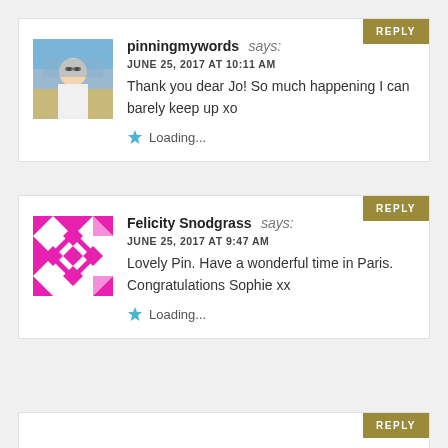[Figure (photo): Avatar photo of pinningmywords, a person outdoors with sky background]
pinningmywords says:
JUNE 25, 2017 AT 10:11 AM
Thank you dear Jo! So much happening I can barely keep up xo
Loading...
[Figure (illustration): Abstract geometric avatar with pink/magenta diamond pattern on white background]
Felicity Snodgrass says:
JUNE 25, 2017 AT 9:47 AM
Lovely Pin. Have a wonderful time in Paris. Congratulations Sophie xx
Loading...
REPLY (third comment block, partially visible)